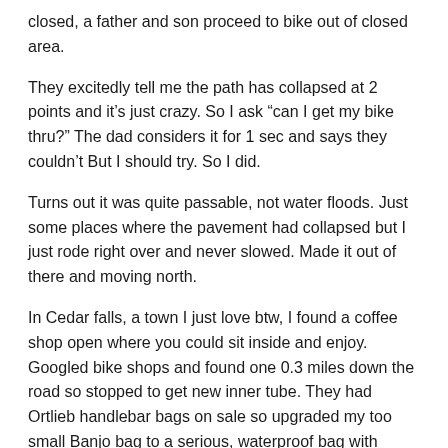closed, a father and son proceed to bike out of closed area.
They excitedly tell me the path has collapsed at 2 points and it’s just crazy. So I ask “can I get my bike thru?” The dad considers it for 1 sec and says they couldn’t But I should try. So I did.
Turns out it was quite passable, not water floods. Just some places where the pavement had collapsed but I just rode right over and never slowed. Made it out of there and moving north.
In Cedar falls, a town I just love btw, I found a coffee shop open where you could sit inside and enjoy. Googled bike shops and found one 0.3 miles down the road so stopped to get new inner tube. They had Ortlieb handlebar bags on sale so upgraded my too small Banjo bag to a serious, waterproof bag with magnetic latches. Love this bag! Cool bike shop inside Ams old post office. They had the 2020 Ragbrai route on huge chalk board with word cancelled. Will use same route in 2021. Kinda sad.
Rode north and camped in wild life conservation area behind old Boy Scout camp. I went all the way to back against unnamed creek and pitched tent. Wildlife was abundant…saw turkeys, bald eagle,